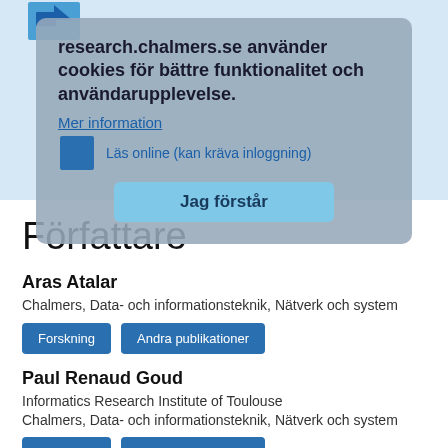[Figure (screenshot): Cookie consent overlay on research.chalmers.se with Swedish text and 'Jag förstår' button]
Författare
Aras Atalar
Chalmers, Data- och informationsteknik, Nätverk och system
Paul Renaud Goud
Informatics Research Institute of Toulouse
Chalmers, Data- och informationsteknik, Nätverk och system